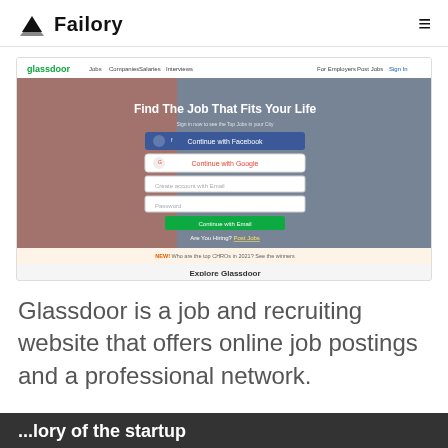Failory
[Figure (screenshot): Screenshot of the Glassdoor website homepage showing navigation bar with logo, Jobs, Companies, Salaries, Interviews links, and a hero section with 'Find The Job That Fits Your Life' heading, Continue with Facebook button, Continue with Google button, Create account with Email field, Password field, Continue with Email button, Are You Hiring? Post Jobs link. Below shows a notification bar and 'Explore Glassdoor' caption.]
Glassdoor is a job and recruiting website that offers online job postings and a professional network.
...lory of the startup